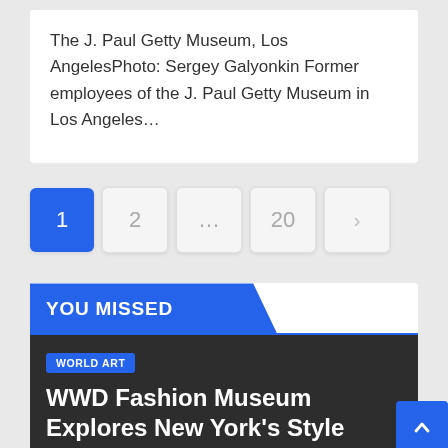The J. Paul Getty Museum, Los AngelesPhoto: Sergey Galyonkin Former employees of the J. Paul Getty Museum in Los Angeles…
[Figure (other): Pagination controls showing page buttons: 1 (active, blue), 2, ..., 20, and a next arrow (>)]
YOU MISSED
WORLD ART
WWD Fashion Museum Explores New York's Style